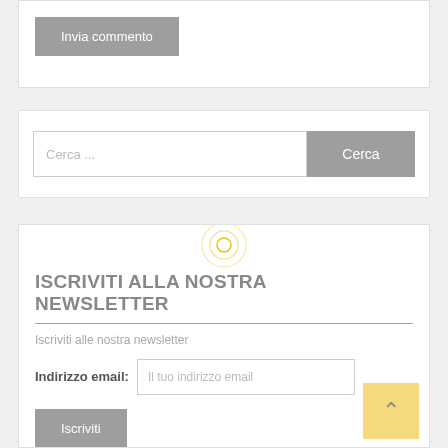Invia commento
Cerca ...
Cerca
ISCRIVITI ALLA NOSTRA NEWSLETTER
Iscriviti alle nostra newsletter
Indirizzo email:
Il tuo indirizzo email
Iscriviti